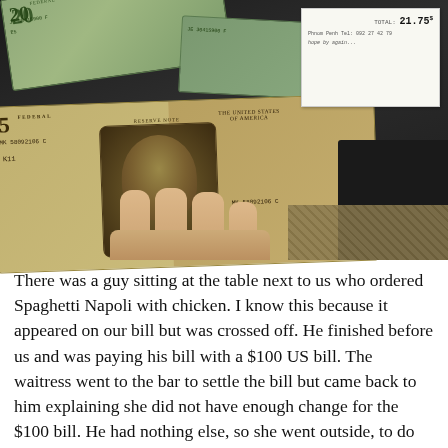[Figure (photo): Photo of US currency bills ($20 and $5) held by a hand, with a restaurant bill/receipt visible in the upper right corner showing TOTAL: 21.75, alongside a wallet/bill folder on a dark surface.]
There was a guy sitting at the table next to us who ordered Spaghetti Napoli with chicken. I know this because it appeared on our bill but was crossed off. He finished before us and was paying his bill with a $100 US bill. The waitress went to the bar to settle the bill but came back to him explaining she did not have enough change for the $100 bill. He had nothing else, so she went outside, to do what I assume was to try to find